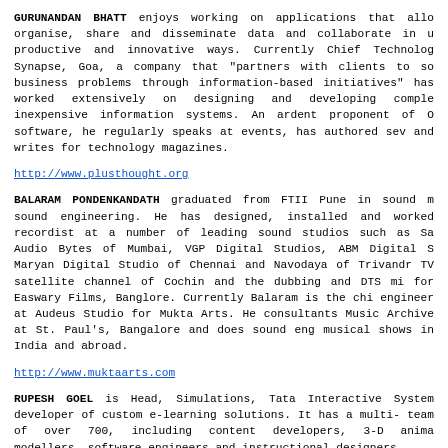GURUNANDAN BHATT enjoys working on applications that allow organise, share and disseminate data and collaborate in productive and innovative ways. Currently Chief Technology Synapse, Goa, a company that "partners with clients to s business problems through information-based initiatives" has worked extensively on designing and developing compl inexpensive information systems. An ardent proponent of software, he regularly speaks at events, has authored sev and writes for technology magazines.
http://www.plusthought.org
BALARAM PONDENKANDATH graduated from FTII Pune in sound sound engineering. He has designed, installed and worked recordist at a number of leading sound studios such as S Audio Bytes of Mumbai, VGP Digital Studios, ABM Digital Maryan Digital Studio of Chennai and Navodaya of Trivand TV satellite channel of Cochin and the dubbing and DTS m for Easwary Films, Banglore. Currently Balaram is the ch engineer at Audeus Studio for Mukta Arts. He consultants Music Archive at St. Paul's, Bangalore and does sound en musical shows in India and abroad.
http://www.muktaarts.com
RUPESH GOEL is Head, Simulations, Tata Interactive Syste developer of custom e-learning solutions. It has a multi team of over 700, including content developers, 3-D anim modellers, software engineers and instructional designers